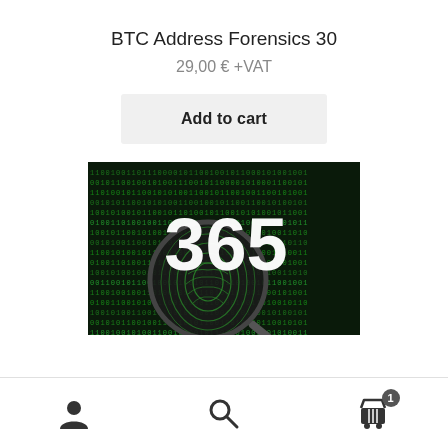BTC Address Forensics 30
29,00 € +VAT
Add to cart
[Figure (photo): Dark background with green binary code matrix and a magnifying glass with a fingerprint overlay. Large white text '365' displayed prominently.]
Navigation bar with user icon, search icon, and cart icon with badge showing '1'